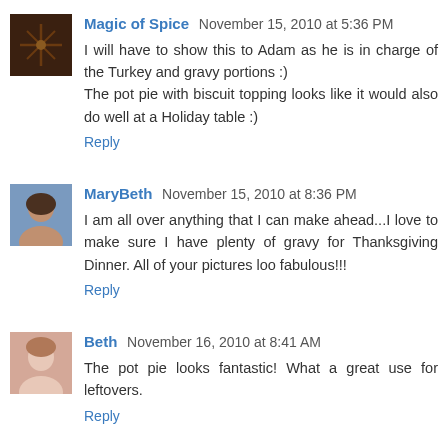Magic of Spice  November 15, 2010 at 5:36 PM
I will have to show this to Adam as he is in charge of the Turkey and gravy portions :) The pot pie with biscuit topping looks like it would also do well at a Holiday table :)
Reply
MaryBeth  November 15, 2010 at 8:36 PM
I am all over anything that I can make ahead...I love to make sure I have plenty of gravy for Thanksgiving Dinner. All of your pictures loo fabulous!!!
Reply
Beth  November 16, 2010 at 8:41 AM
The pot pie looks fantastic! What a great use for leftovers.
Reply